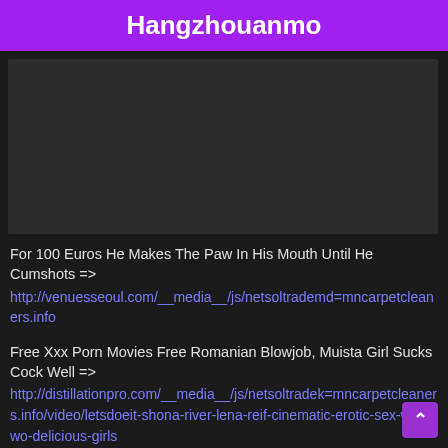Hangzhouanmo
[Figure (other): Dark video thumbnail placeholder]
For 100 Euros He Makes The Paw In His Mouth Until He Cumshots => http://venuesseoul.com/__media__/js/netsoltrademd=mncarpetcleaners.info
Free Xxx Porn Movies Free Romanian Blowjob, Muista Girl Sucks Cock Well => http://distillationpro.com/__media__/js/netsoltradek=mncarpetcleaners.info/video/letsdoeit-shona-river-lena-reif-cinematic-erotic-sex-with-two-delicious-girls